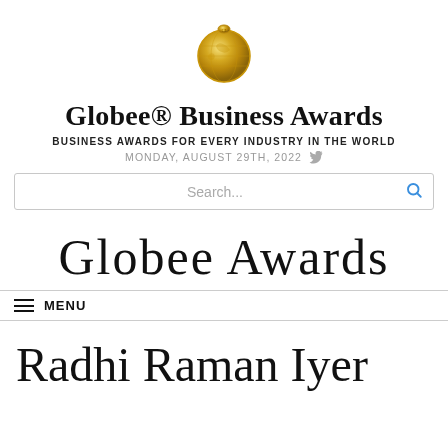[Figure (logo): Gold globe medal coin logo for Globee Business Awards]
Globee® Business Awards
BUSINESS AWARDS FOR EVERY INDUSTRY IN THE WORLD
MONDAY, AUGUST 29TH, 2022
Search...
[Figure (logo): Globee Awards gothic blackletter logo text]
MENU
Radhi Raman Iyer